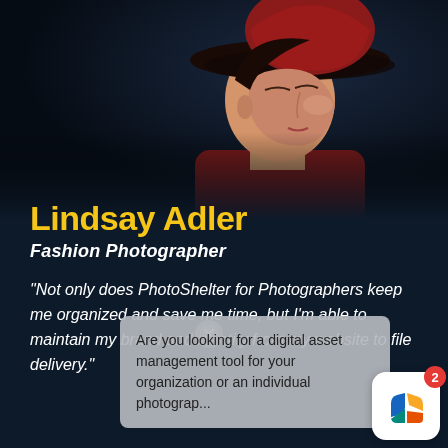[Figure (photo): Fashion portrait of a woman wearing a dark wide-brim hat and red turtleneck against a dark blue background]
Lindsay Adler
Fashion Photographer
“Not only does PhotoShelter for Photographers keep me organized and save me time, but I’m able to maintain my brand and identity from my website to file delivery.”
Are you looking for a digital asset management tool for your organization or an individual photograp...